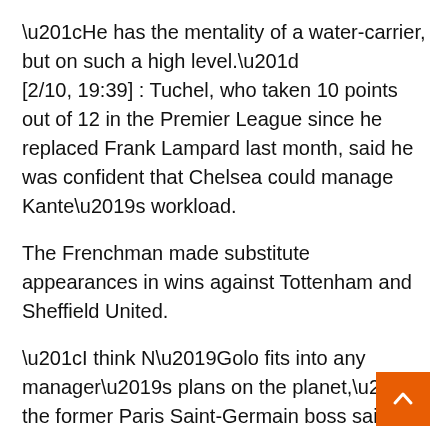“He has the mentality of a water-carrier, but on such a high level.”
[2/10, 19:39] : Tuchel, who taken 10 points out of 12 in the Premier League since he replaced Frank Lampard last month, said he was confident that Chelsea could manage Kante’s workload.
The Frenchman made substitute appearances in wins against Tottenham and Sheffield United.
“I think N’Golo fits into any manager’s plans on the planet,” the former Paris Saint-Germain boss said.
“I was desperate to have him in my teams in the past. He is a big Chelsea player and one of the best midfielders in the world. So I am so lucky to have in my squad and that he is back fit again.”